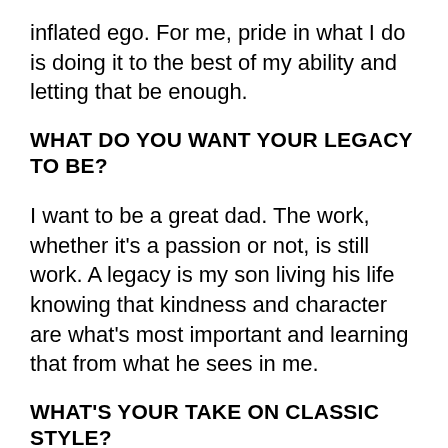inflated ego. For me, pride in what I do is doing it to the best of my ability and letting that be enough.
WHAT DO YOU WANT YOUR LEGACY TO BE?
I want to be a great dad. The work, whether it's a passion or not, is still work. A legacy is my son living his life knowing that kindness and character are what's most important and learning that from what he sees in me.
WHAT'S YOUR TAKE ON CLASSIC STYLE?
Quality. There's nothing more classic. A quality T-shirt, a quality pair of jeans, a quality suit, and a quality pair of shoes. That's classic.